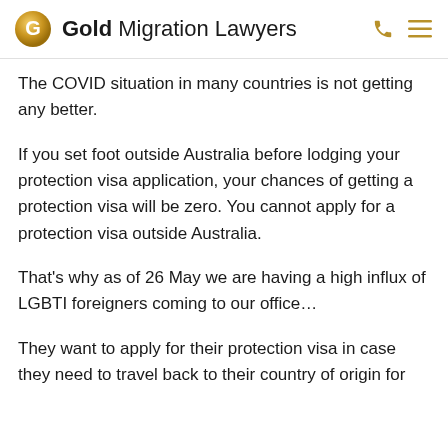Gold Migration Lawyers
The COVID situation in many countries is not getting any better.
If you set foot outside Australia before lodging your protection visa application, your chances of getting a protection visa will be zero. You cannot apply for a protection visa outside Australia.
That's why as of 26 May we are having a high influx of LGBTI foreigners coming to our office…
They want to apply for their protection visa in case they need to travel back to their country of origin for